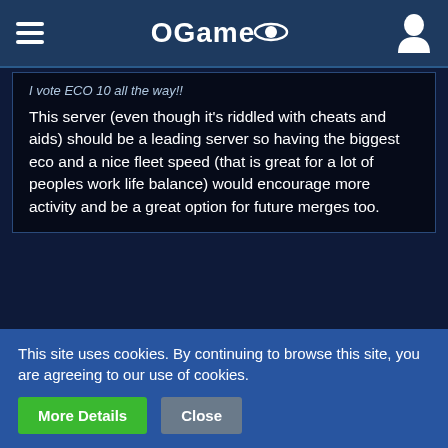OGame
I vote ECO 10 all the way!!

This server (even though it's riddled with cheats and aids) should be a leading server so having the biggest eco and a nice fleet speed (that is great for a lot of peoples work life balance) would encourage more activity and be a great option for future merges too.
Asto Vidatu
Resident Alien
★★★
Feb 13th 2020
This site uses cookies. By continuing to browse this site, you are agreeing to our use of cookies.